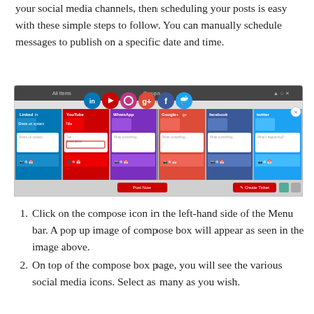your social media channels, then scheduling your posts is easy with these simple steps to follow. You can manually schedule messages to publish on a specific date and time.
[Figure (screenshot): Screenshot of a social media management compose box interface showing icons for LinkedIn, YouTube, Instagram, Google+, Facebook, and Twitter at the top, with colored panel columns below for each platform including post fields and action buttons.]
Click on the compose icon in the left-hand side of the Menu bar. A pop up image of compose box will appear as seen in the image above.
On top of the compose box page, you will see the various social media icons. Select as many as you wish.